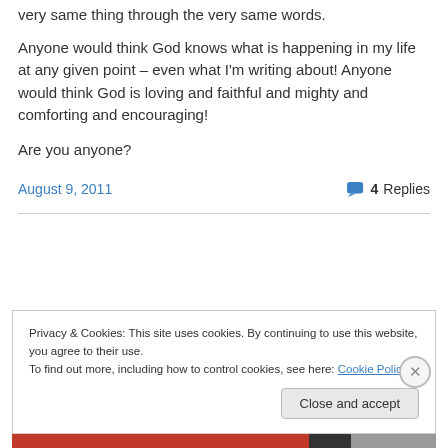very same thing through the very same words.
Anyone would think God knows what is happening in my life at any given point – even what I'm writing about! Anyone would think God is loving and faithful and mighty and comforting and encouraging!
Are you anyone?
August 9, 2011     4 Replies
Privacy & Cookies: This site uses cookies. By continuing to use this website, you agree to their use.
To find out more, including how to control cookies, see here: Cookie Policy
Close and accept